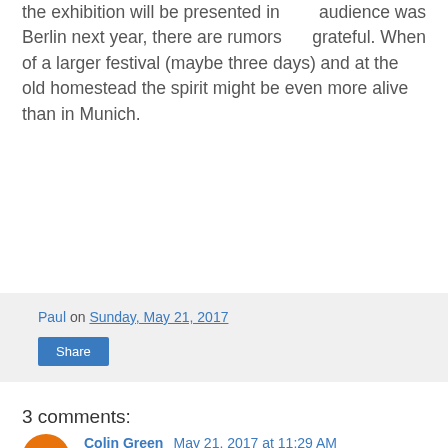audience was grateful. When the exhibition will be presented in Berlin next year, there are rumors of a larger festival (maybe three days) and at the old homestead the spirit might be even more alive than in Munich.
Paul on Sunday, May 21, 2017
Share
3 comments:
Colin Green May 21, 2017 at 11:29 AM
Most enjoyable, Martin. A nicely considered set of reviews.
Reply
FreeJazz Jeff May 27, 2017 at 3:57 AM